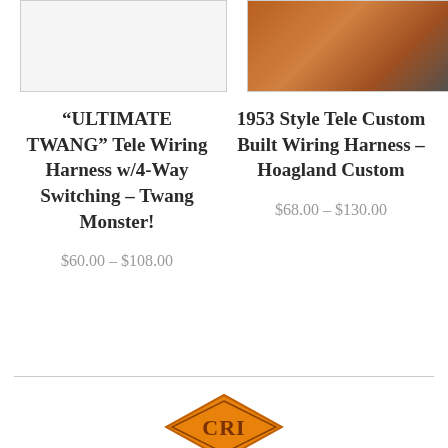[Figure (photo): Product image placeholder (left) - white background with light border]
[Figure (photo): Product image (right) - orange/brown leather wiring harness product photo]
“ULTIMATE TWANG” Tele Wiring Harness w/4-Way Switching – Twang Monster!
1953 Style Tele Custom Built Wiring Harness – Hoagland Custom
$60.00 – $108.00
$68.00 – $130.00
[Figure (logo): CRI logo - orange diamond/hexagon shape with CRI text]